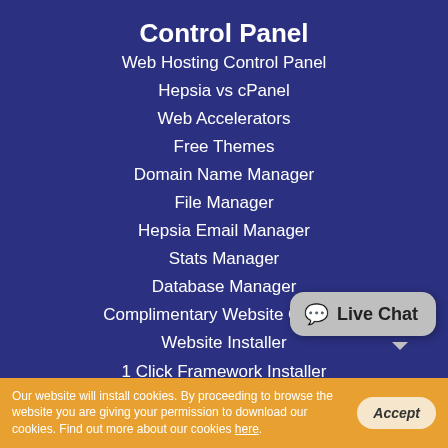Control Panel
Web Hosting Control Panel
Hepsia vs cPanel
Web Accelerators
Free Themes
Domain Name Manager
File Manager
Hepsia Email Manager
Stats Manager
Database Manager
Complimentary Website Creator
Website Installer
1 Click Framework Installer
Marketing Tools
Advanced Tools
Live Chat
Our website will install cookies. By proceeding to browse the website you are giving your permission to download our cookies. Find out more about our cookies here.